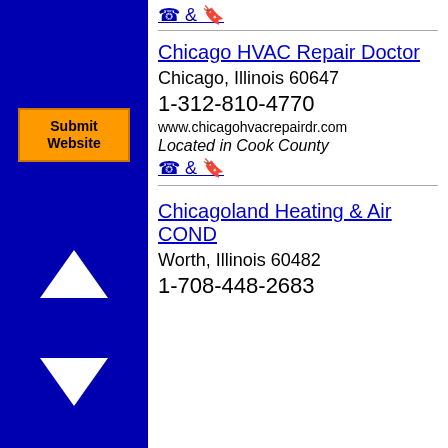[Figure (other): Blue sidebar with orange Submit Website button, up arrow, and down arrow navigation controls]
☎ & 🔖
Chicago HVAC Repair Doctor
Chicago, Illinois 60647
1-312-810-4770
www.chicagohvacrepairdr.com
Located in Cook County
☎ & 🔖
Chicagoland Heating & Air COND
Worth, Illinois 60482
1-708-448-2683